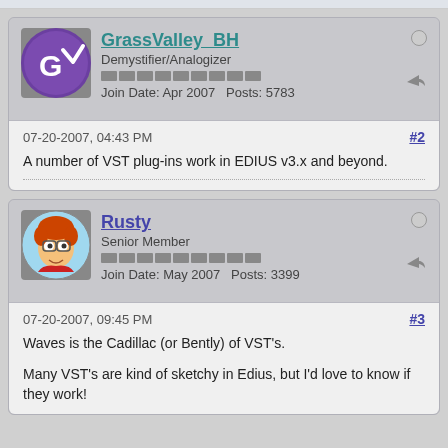GrassValley_BH — Demystifier/Analogizer — Join Date: Apr 2007  Posts: 5783
07-20-2007, 04:43 PM  #2
A number of VST plug-ins work in EDIUS v3.x and beyond.
Rusty — Senior Member — Join Date: May 2007  Posts: 3399
07-20-2007, 09:45 PM  #3
Waves is the Cadillac (or Bently) of VST's.

Many VST's are kind of sketchy in Edius, but I'd love to know if they work!